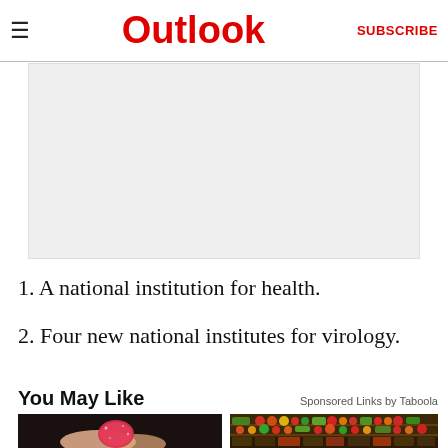Outlook | SUBSCRIBE
[Figure (other): Advertisement placeholder box (light grey background)]
1. A national institution for health.
2. Four new national institutes for virology.
You May Like   Sponsored Links by Taboola
[Figure (photo): Close-up of fingers holding a red sugary gummy candy against a dark background]
[Figure (photo): Grocery store produce aisle with colorful fruits and vegetables on shelves]